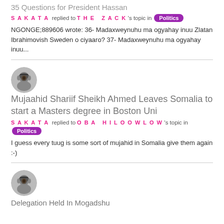35 Questions for President Hassan
SAKATA replied to THE ZACK 's topic in Politics
NGONGE;889606 wrote: 36- Madaxweynuhu ma ogyahay inuu Zlatan Ibrahimovish Sweden o ciyaaro? 37- Madaxweynuhu ma ogyahay inuu...
[Figure (photo): Circular avatar/profile photo of a person, grayscale]
Mujaahid Shariif Sheikh Ahmed Leaves Somalia to start a Masters degree in Boston Uni
SAKATA replied to OBA HILOOWLOW 's topic in Politics
I guess every tuug is some sort of mujahid in Somalia give them again :-)
[Figure (photo): Circular avatar/profile photo of a person, grayscale]
Delegation Held In Mogadshu